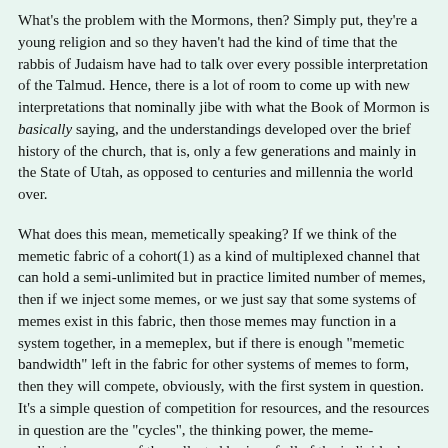What's the problem with the Mormons, then? Simply put, they're a young religion and so they haven't had the kind of time that the rabbis of Judaism have had to talk over every possible interpretation of the Talmud. Hence, there is a lot of room to come up with new interpretations that nominally jibe with what the Book of Mormon is basically saying, and the understandings developed over the brief history of the church, that is, only a few generations and mainly in the State of Utah, as opposed to centuries and millennia the world over.
What does this mean, memetically speaking? If we think of the memetic fabric of a cohort(1) as a kind of multiplexed channel that can hold a semi-unlimited but in practice limited number of memes, then if we inject some memes, or we just say that some systems of memes exist in this fabric, then those memes may function in a system together, in a memeplex, but if there is enough "memetic bandwidth" left in the fabric for other systems of memes to form, then they will compete, obviously, with the first system in question. It's a simple question of competition for resources, and the resources in question are the "cycles", the thinking power, the meme-replicating power, of the collected brains of all of the individuals who make up this cohort.